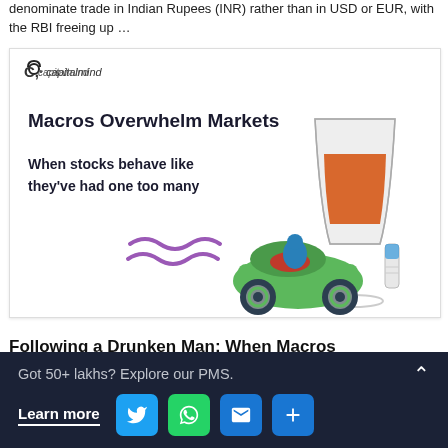denominate trade in Indian Rupees (INR) rather than in USD or EUR, with the RBI freeing up …
[Figure (illustration): Capitalmind article card with title 'Macros Overwhelm Markets' and subtitle 'When stocks behave like they've had one too many', featuring an image of a toy car crashed into a cocktail glass with spilled liquid]
Following a Drunken Man: When Macros Overwhelm Markets
Got 50+ lakhs? Explore our PMS. Learn more